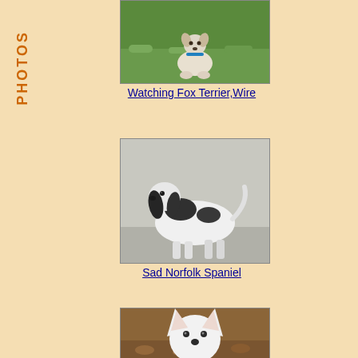PHOTOS
[Figure (photo): A wire fox terrier dog sitting on grass, looking alert]
Watching Fox Terrier,Wire
[Figure (photo): Black and white photo of a Norfolk Spaniel dog standing, profile view]
Sad Norfolk Spaniel
[Figure (photo): A white dog, possibly a white German Shepherd or similar breed, looking directly at camera with alert ears]